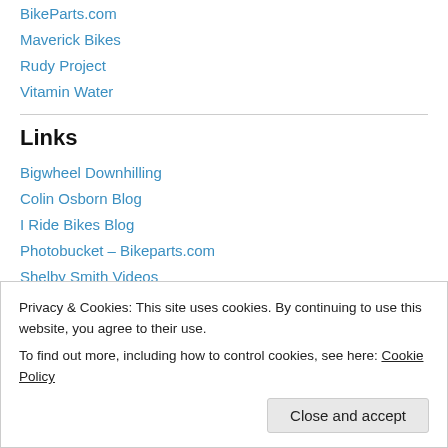BikeParts.com
Maverick Bikes
Rudy Project
Vitamin Water
Links
Bigwheel Downhilling
Colin Osborn Blog
I Ride Bikes Blog
Photobucket – Bikeparts.com
Shelby Smith Videos
Spot Bikes/Oscar Blues Beer Blog
Privacy & Cookies: This site uses cookies. By continuing to use this website, you agree to their use. To find out more, including how to control cookies, see here: Cookie Policy
Close and accept